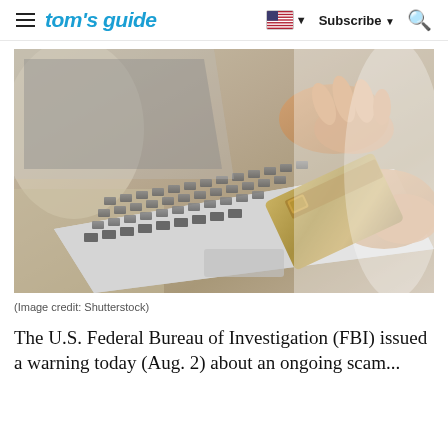tom's guide | Subscribe
[Figure (photo): Person sitting on a couch holding a credit card in one hand while typing on a white laptop keyboard with the other hand, wearing a white shirt]
(Image credit: Shutterstock)
The U.S. Federal Bureau of Investigation (FBI) issued a warning today (Aug. 2) about an ongoing scam...